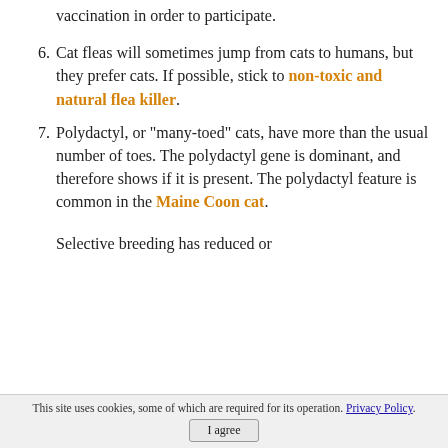vaccination in order to participate.
6. Cat fleas will sometimes jump from cats to humans, but they prefer cats. If possible, stick to non-toxic and natural flea killer.
7. Polydactyl, or "many-toed" cats, have more than the usual number of toes. The polydactyl gene is dominant, and therefore shows if it is present. The polydactyl feature is common in the Maine Coon cat.
Selective breeding has reduced or
This site uses cookies, some of which are required for its operation. Privacy Policy. I agree